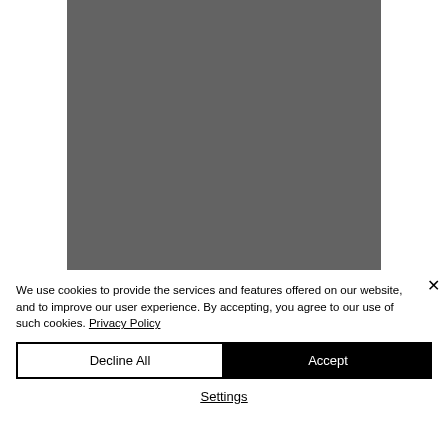[Figure (photo): Gray rectangle representing a blurred or placeholder image area]
We use cookies to provide the services and features offered on our website, and to improve our user experience. By accepting, you agree to our use of such cookies. Privacy Policy
Decline All
Accept
Settings